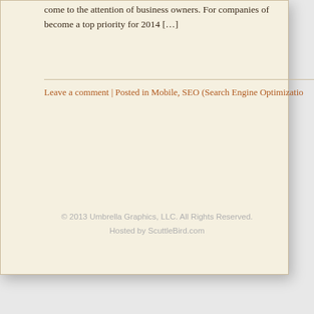come to the attention of business owners. For companies of become a top priority for 2014 [...]
Leave a comment | Posted in Mobile, SEO (Search Engine Optimizatio
© 2013 Umbrella Graphics, LLC. All Rights Reserved.
Hosted by ScuttleBird.com